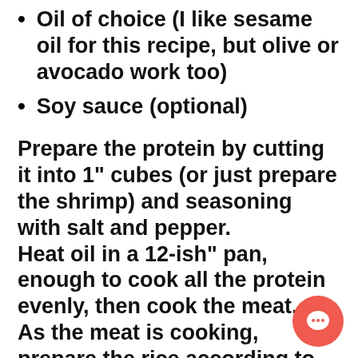Oil of choice (I like sesame oil for this recipe, but olive or avocado work too)
Soy sauce (optional)
Prepare the protein by cutting it into 1" cubes (or just prepare the shrimp) and seasoning with salt and pepper. Heat oil in a 12-ish" pan, enough to cook all the protein evenly, then cook the meat. As the meat is cooking, prepare the rice according to packaged directions. When rice is fluffy, add 2 eggs, scrambling as you mix into the rice. You can add a little more soy sauce to give the rice the extra flavor.